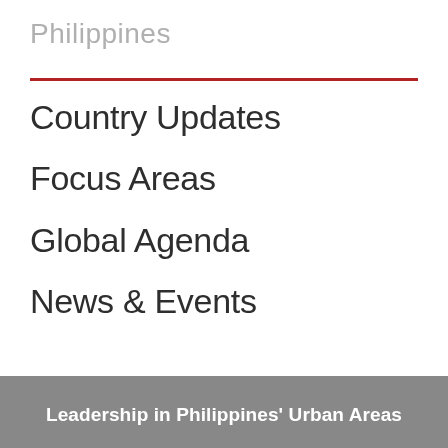Philippines
Country Updates
Focus Areas
Global Agenda
News & Events
Leadership in Philippines' Urban Areas